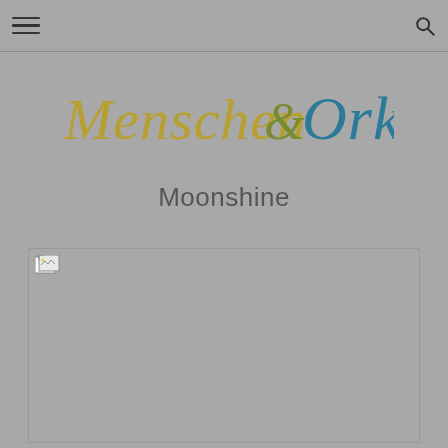[Figure (logo): Handwritten-style logo reading 'Menschen & Ork' with 'Menschen' in olive/yellow, '&' in olive, and 'Ork' in teal/blue]
Moonshine
[Figure (photo): Broken/missing image placeholder rectangle]